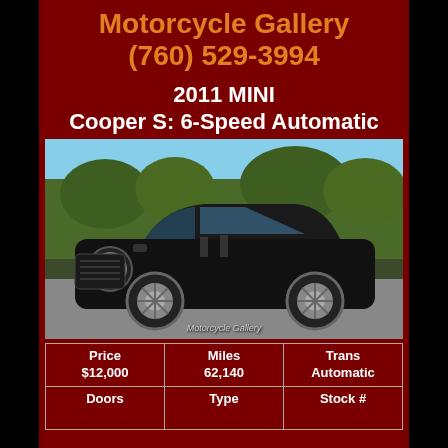Motorcycle Gallery
(760) 529-3994
2011 MINI Cooper S: 6-Speed Automatic
[Figure (photo): Black 2011 MINI Cooper S photographed outdoors in a parking area with trees and blue sky in background. Watermark reads 'Motorcycle Gallery'.]
| Price | Miles | Trans |
| --- | --- | --- |
| $12,000 | 62,140 | Automatic |
| Doors | Type | Stock # |
| --- | --- | --- |
| — | — | — |